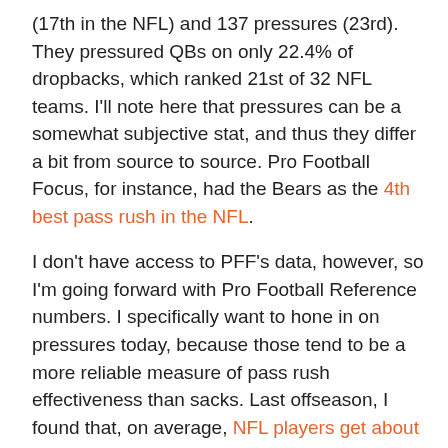(17th in the NFL) and 137 pressures (23rd). They pressured QBs on only 22.4% of dropbacks, which ranked 21st of 32 NFL teams. I'll note here that pressures can be a somewhat subjective stat, and thus they differ a bit from source to source. Pro Football Focus, for instance, had the Bears as the 4th best pass rush in the NFL.
I don't have access to PFF's data, however, so I'm going forward with Pro Football Reference numbers. I specifically want to hone in on pressures today, because those tend to be a more reliable measure of pass rush effectiveness than sacks. Last offseason, I found that, on average, NFL players get about 3.8 pressures per sack. This allows you to get a feel for expected sacks (pressures/3.8), which you can then compare to the actual sacks to see which players got lucky (more sacks than expected) or unlucky (less sacks than expected). I found there is no carryover from one season to the next in this stat, so it gives us an idea of what players we might expect to bounce back the